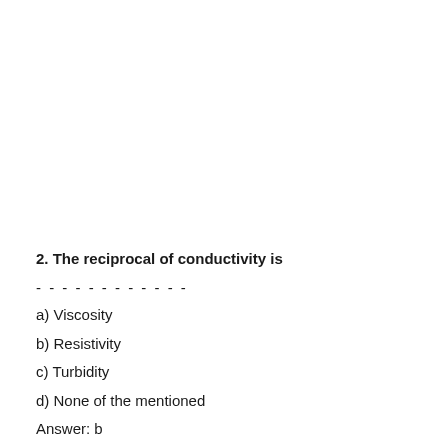2. The reciprocal of conductivity is
- - - - - - - - - - - -
a) Viscosity
b) Resistivity
c) Turbidity
d) None of the mentioned
Answer: b